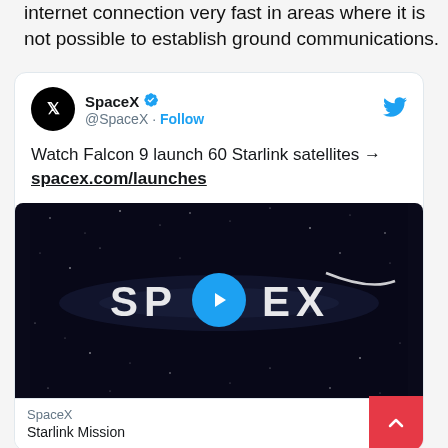internet connection very fast in areas where it is not possible to establish ground communications.
[Figure (screenshot): Embedded tweet from SpaceX (@SpaceX) with verified badge, showing tweet text 'Watch Falcon 9 launch 60 Starlink satellites → spacex.com/launches' and a video thumbnail showing the SpaceX logo on a starfield background with a blue play button. Below the video is a link preview showing 'SpaceX' and 'Starlink Mission'. A back-to-top red button with a white chevron is in the bottom right.]